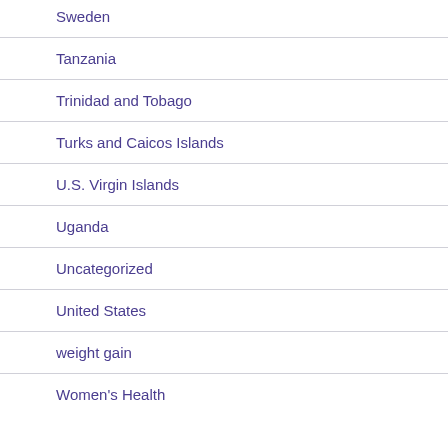Sweden
Tanzania
Trinidad and Tobago
Turks and Caicos Islands
U.S. Virgin Islands
Uganda
Uncategorized
United States
weight gain
Women's Health